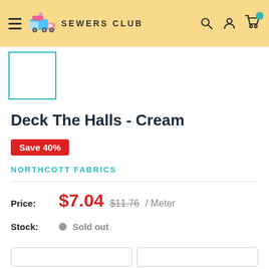SEWERS CLUB
[Figure (screenshot): Product thumbnail placeholder — white box with teal border]
Deck The Halls - Cream
Save 40%
NORTHCOTT FABRICS
Price: $7.04  $11.76/ Meter
Stock:  • Sold out